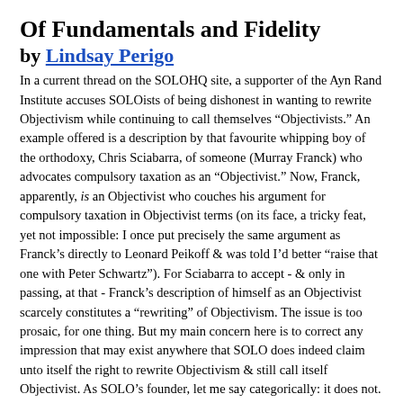Of Fundamentals and Fidelity
by Lindsay Perigo
In a current thread on the SOLOHQ site, a supporter of the Ayn Rand Institute accuses SOLOists of being dishonest in wanting to rewrite Objectivism while continuing to call themselves "Objectivists." An example offered is a description by that favourite whipping boy of the orthodoxy, Chris Sciabarra, of someone (Murray Franck) who advocates compulsory taxation as an "Objectivist." Now, Franck, apparently, is an Objectivist who couches his argument for compulsory taxation in Objectivist terms (on its face, a tricky feat, yet not impossible: I once put precisely the same argument as Franck's directly to Leonard Peikoff & was told I'd better "raise that one with Peter Schwartz"). For Sciabarra to accept - & only in passing, at that - Franck's description of himself as an Objectivist scarcely constitutes a "rewriting" of Objectivism. The issue is too prosaic, for one thing. But my main concern here is to correct any impression that may exist anywhere that SOLO does indeed claim unto itself the right to rewrite Objectivism & still call itself Objectivist. As SOLO's founder, let me say categorically: it does not. If we were in the business of rewriting Objectivism while continuing to use the label, I would agree that we would be guilty of dishonesty.